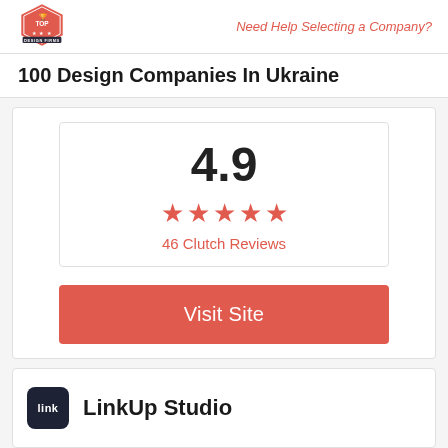Top Design Firms | Need Help Selecting a Company?
100 Design Companies In Ukraine
[Figure (infographic): Rating box showing 4.9 score with 5 red stars and '46 Clutch Reviews' text, followed by a red 'Visit Site' button]
LinkUp Studio